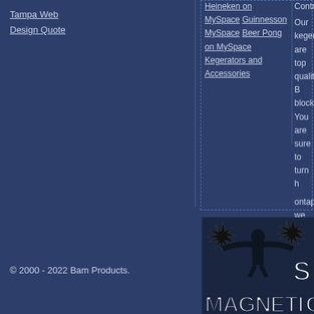Tampa Web Design Quote
Heineken on MySpace
Guinnesson MySpace
Beer Pong on MySpace
Contracting
Our kegerators are top quality B... block. You are sure to turn h...
ontap we feel every party ge...
Kegerators and Accessories
© 2000 - 2022 Bam Products.
[Figure (logo): Super Magnetic logo with a stylized figure and the text MAGNETIC in large graffiti-style letters]
A site dedicated to magnetic toy...
BuckyBalls